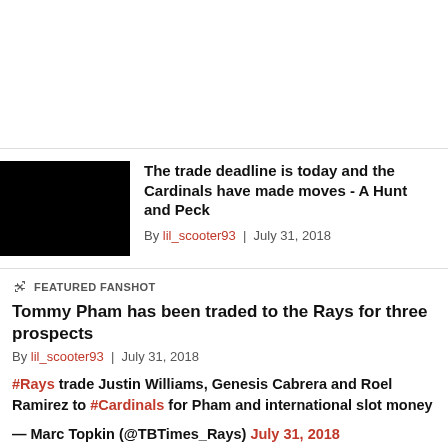[Figure (photo): Black thumbnail image for article]
The trade deadline is today and the Cardinals have made moves - A Hunt and Peck
By lil_scooter93 | July 31, 2018
FEATURED FANSHOT
Tommy Pham has been traded to the Rays for three prospects
By lil_scooter93 | July 31, 2018
#Rays trade Justin Williams, Genesis Cabrera and Roel Ramirez to #Cardinals for Pham and international slot money
— Marc Topkin (@TBTimes_Rays) July 31, 2018